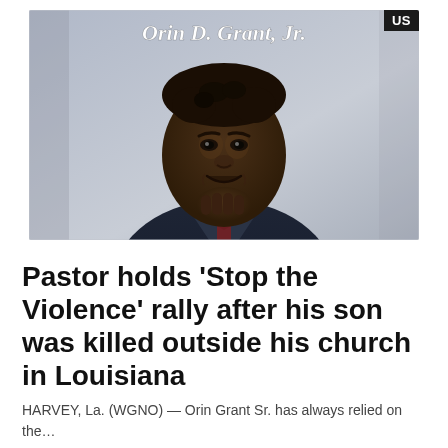[Figure (photo): Photo of Orin D. Grant Jr., a young Black teenager in a dark suit jacket, smiling with his hand under his chin, posed for what appears to be a school or formal portrait. The name 'Orin D. Grant, Jr.' is printed in italic white text at the top of the photo.]
Pastor holds ‘Stop the Violence’ rally after his son was killed outside his church in Louisiana
HARVEY, La. (WGNO) — Orin Grant Sr. has always relied on the…
Internewscast · May 17, 2022